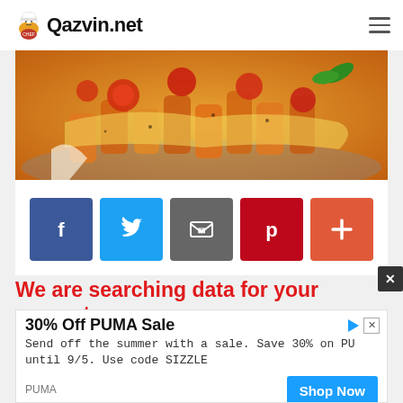Qazvin.net
[Figure (photo): Close-up photo of baked pasta dish with tomatoes and cheese in a pan]
[Figure (infographic): Social share buttons: Facebook, Twitter, Email, Pinterest, Plus]
We are searching data for your request:
30% Off PUMA Sale - Send off the summer with a sale. Save 30% on PU until 9/5. Use code SIZZLE - PUMA - Shop Now